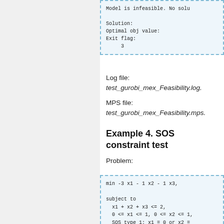[Figure (screenshot): Code output block showing: Model is infeasible. No solu... / Solution: / Optimal obj value: / Exit flag: / 3]
Log file:
test_gurobi_mex_Feasibility.log.
MPS file:
test_gurobi_mex_Feasibility.mps.
Example 4. SOS constraint test
Problem:
[Figure (screenshot): Code block: min -3 x1 - 1 x2 - 1 x3, subject to x1 + x2 + x3 <= 2, 0 <= x1 <= 1, 0 <= x2 <= 1, SOS type 1: x1 = 0 or x2 =, SOS type 1: x1 = 0 or x3 =]